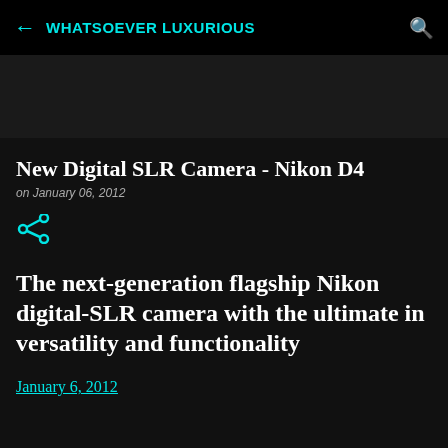WHATSOEVER LUXURIOUS
New Digital SLR Camera - Nikon D4
on January 06, 2012
The next-generation flagship Nikon digital-SLR camera with the ultimate in versatility and functionality
January 6, 2012